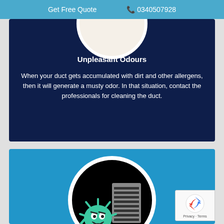Get Free Quote  📞 0340507928
Unpleasant Odours
When your duct gets accumulated with dirt and other allergens, then it will generate a musty odor. In that situation, contact the professionals for cleaning the duct.
[Figure (illustration): Second card showing a germ/bacteria cartoon character next to a vent/duct grid inside a circular frame on a blue background]